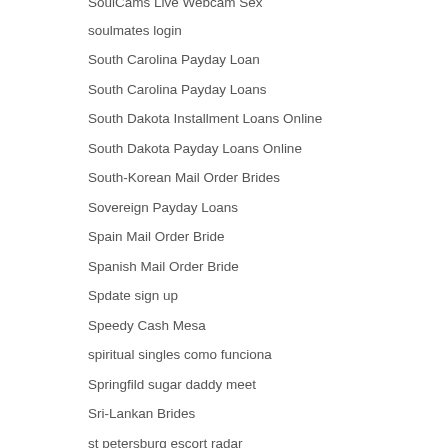SoulCams Live Webcam Sex
soulmates login
South Carolina Payday Loan
South Carolina Payday Loans
South Dakota Installment Loans Online
South Dakota Payday Loans Online
South-Korean Mail Order Brides
Sovereign Payday Loans
Spain Mail Order Bride
Spanish Mail Order Bride
Spdate sign up
Speedy Cash Mesa
spiritual singles como funciona
Springfild sugar daddy meet
Sri-Lankan Brides
st petersburg escort radar